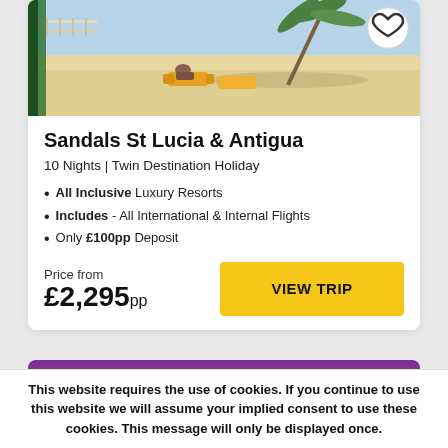[Figure (photo): Aerial view of a beach resort with sun loungers on white sand and palm tree shadow]
Sandals St Lucia & Antigua
10 Nights | Twin Destination Holiday
All Inclusive Luxury Resorts
Includes - All International & Internal Flights
Only £100pp Deposit
Price from £2,295pp
[Figure (photo): Sunset sky with pink and purple clouds]
This website requires the use of cookies. If you continue to use this website we will assume your implied consent to use these cookies. This message will only be displayed once.